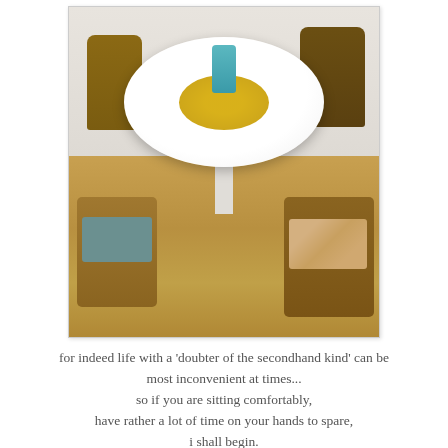[Figure (photo): Overhead-angle photo of a round white tulip-style dining table with four mismatched mid-century modern wooden chairs. The table has a yellow crocheted doily centerpiece with a teal pitcher and small cups. Two chairs have teal/blue seats and two have floral/patterned seats. The setting is on a warm wood floor against a light wall.]
for indeed life with a 'doubter of the secondhand kind' can be most inconvenient at times...
so if you are sitting comfortably,
have rather a lot of time on your hands to spare,
i shall begin.